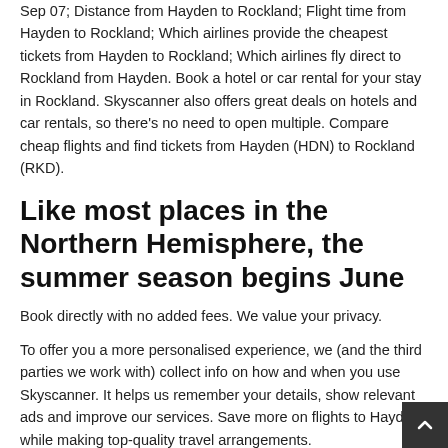Sep 07; Distance from Hayden to Rockland; Flight time from Hayden to Rockland; Which airlines provide the cheapest tickets from Hayden to Rockland; Which airlines fly direct to Rockland from Hayden. Book a hotel or car rental for your stay in Rockland. Skyscanner also offers great deals on hotels and car rentals, so there's no need to open multiple. Compare cheap flights and find tickets from Hayden (HDN) to Rockland (RKD).
Like most places in the Northern Hemisphere, the summer season begins June
Book directly with no added fees. We value your privacy.
To offer you a more personalised experience, we (and the third parties we work with) collect info on how and when you use Skyscanner. It helps us remember your details, show relevant ads and improve our services. Save more on flights to Hayden while making top-quality travel arrangements.